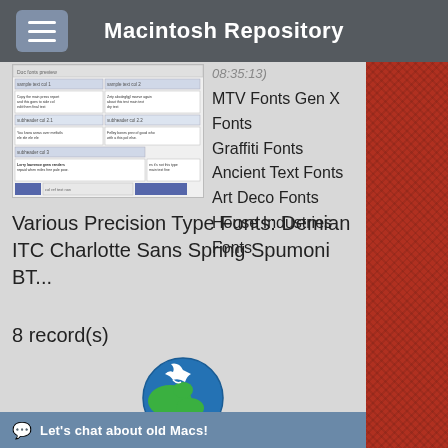Macintosh Repository
[Figure (screenshot): Thumbnail preview of a font document with tables and text columns]
08:35:13)
MTV Fonts Gen X Fonts
Graffiti Fonts Ancient Text Fonts Art Deco Fonts
House Industries Fonts
Various Precision Type Fonts: Demian ITC Charlotte Sans Spring Spumoni BT...
8 record(s)
[Figure (logo): Globe with dove logo for Macintosh Repository]
Let's chat about old Macs!